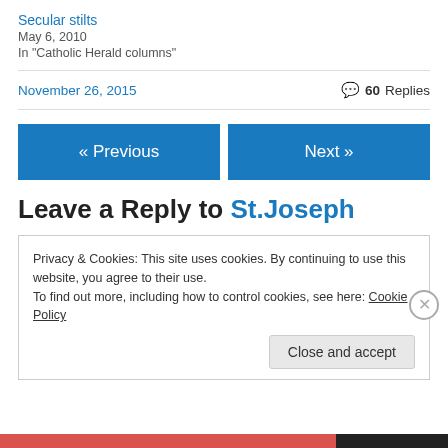Secular stilts
May 6, 2010
In "Catholic Herald columns"
November 26, 2015
60 Replies
« Previous
Next »
Leave a Reply to St.Joseph
Privacy & Cookies: This site uses cookies. By continuing to use this website, you agree to their use.
To find out more, including how to control cookies, see here: Cookie Policy